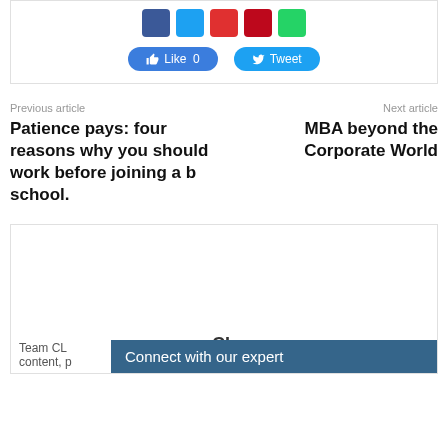[Figure (other): Social media share buttons: Facebook, Twitter, YouTube, Pinterest, WhatsApp icons, Like 0 button, Tweet button]
Previous article
Next article
Patience pays: four reasons why you should work before joining a b school.
MBA beyond the Corporate World
[Figure (other): Advertisement box with CL logo]
Team CL
content, p...
Connect with our expert